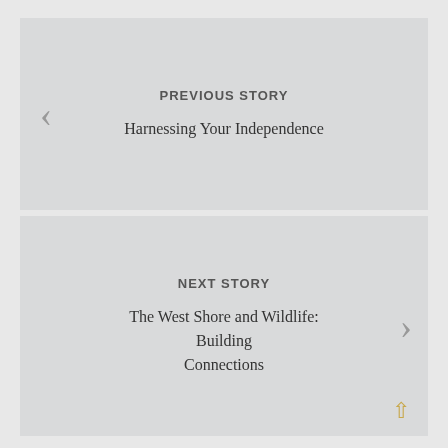PREVIOUS STORY
Harnessing Your Independence
NEXT STORY
The West Shore and Wildlife: Building Connections